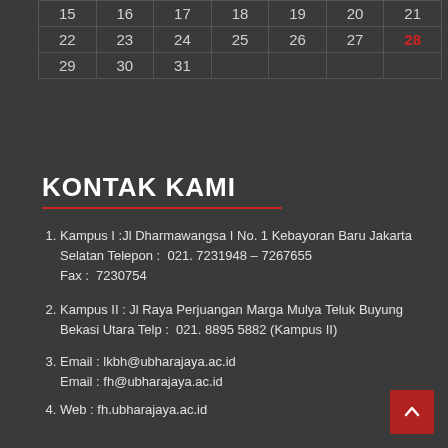|  |  |  |  |  |  |  |
| --- | --- | --- | --- | --- | --- | --- |
| 15 | 16 | 17 | 18 | 19 | 20 | 21 |
| 22 | 23 | 24 | 25 | 26 | 27 | 28 |
| 29 | 30 | 31 |  |  |  |  |
KONTAK KAMI
Kampus I :Jl Dharmawangsa I No. 1 Kebayoran Baru Jakarta Selatan Telepon :  021. 7231948 – 7267655 Fax :  7230754
Kampus II : Jl Raya Perjuangan Marga Mulya Teluk Buyung Bekasi Utara Telp :  021. 8895 5882 (Kampus II)
Email : lkbh@ubharajaya.ac.id Email : fh@ubharajaya.ac.id
Web : fh.ubharajaya.ac.id